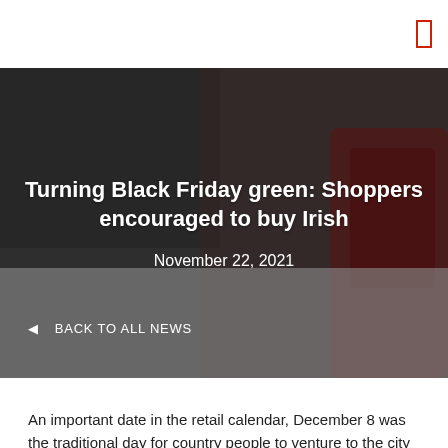[Figure (photo): Dark blurred background showing a phone and shopping-related items, used as hero banner image behind headline text.]
Turning Black Friday green: Shoppers encouraged to buy Irish
November 22, 2021
◄  BACK TO ALL NEWS
An important date in the retail calendar, December 8 was the traditional day for country people to venture to the city to do